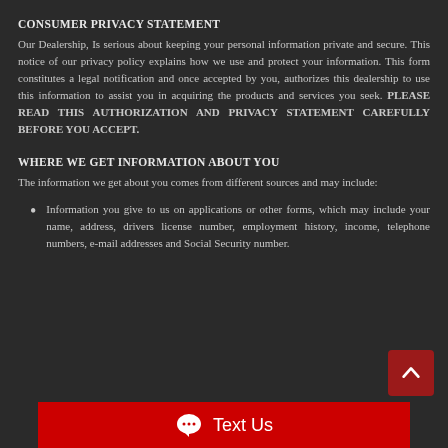CONSUMER PRIVACY STATEMENT
Our Dealership, Is serious about keeping your personal information private and secure. This notice of our privacy policy explains how we use and protect your information. This form constitutes a legal notification and once accepted by you, authorizes this dealership to use this information to assist you in acquiring the products and services you seek. PLEASE READ THIS AUTHORIZATION AND PRIVACY STATEMENT CAREFULLY BEFORE YOU ACCEPT.
WHERE WE GET INFORMATION ABOUT YOU
The information we get about you comes from different sources and may include:
Information you give to us on applications or other forms, which may include your name, address, drivers license number, employment history, income, telephone numbers, e-mail addresses and Social Security number.